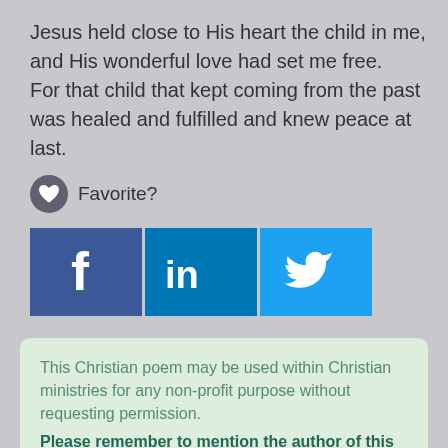Jesus held close to His heart the child in me, and His wonderful love had set me free. For that child that kept coming from the past was healed and fulfilled and knew peace at last.
Favorite?
[Figure (infographic): Social sharing buttons: Facebook (blue), LinkedIn (dark blue), Twitter (light blue) with respective icons]
This Christian poem may be used within Christian ministries for any non-profit purpose without requesting permission. Please remember to mention the author of this poem when using.